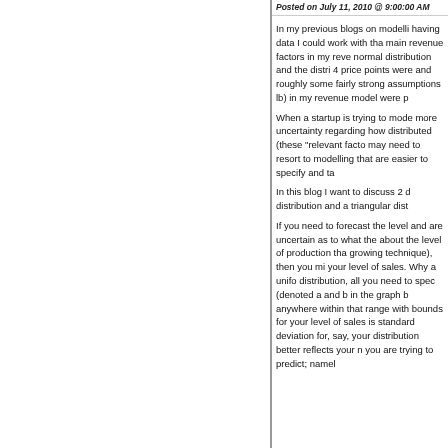Posted on July 11, 2010 @ 9:00:00 AM
In my previous blogs on modelling having data I could work with tha main revenue factors in my reve normal distribution and the distri 4 price points were and roughly some fairly strong assumptions lb) in my revenue model were p
When a startup is trying to mode more uncertainty regarding how distributed (these "relevant facto may need to resort to modelling that are easier to specify and ta
In this blog I want to discuss 2 d distribution and a triangular dist
If you need to forecast the level and are uncertain as to what the about the level of production tha growing technique), then you mi your level of sales. Why a unifo distribution, all you need to spec (denoted a and b in the graph b anywhere within that range with bounds for your level of sales is standard deviation for, say, your distribution better reflects your n you are trying to predict; namel